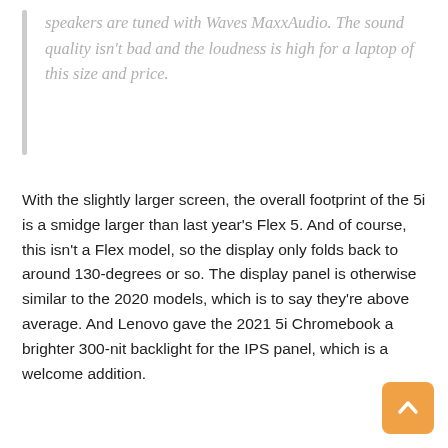speakers are tuned with Waves MaxxAudio. The sound quality isn't bad and the loudness is high for a laptop of this size and price.
With the slightly larger screen, the overall footprint of the 5i is a smidge larger than last year's Flex 5. And of course, this isn't a Flex model, so the display only folds back to around 130-degrees or so. The display panel is otherwise similar to the 2020 models, which is to say they're above average. And Lenovo gave the 2021 5i Chromebook a brighter 300-nit backlight for the IPS panel, which is a welcome addition.
[Figure (other): Back to top button — orange rounded square with an upward-pointing chevron arrow]